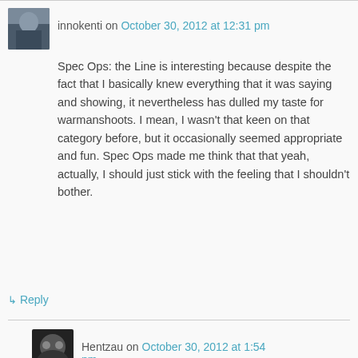innokenti on October 30, 2012 at 12:31 pm
Spec Ops: the Line is interesting because despite the fact that I basically knew everything that it was saying and showing, it nevertheless has dulled my taste for warmanshoots. I mean, I wasn't that keen on that category before, but it occasionally seemed appropriate and fun. Spec Ops made me think that that yeah, actually, I should just stick with the feeling that I shouldn't bother.
↳ Reply
Hentzau on October 30, 2012 at 1:54 pm
There's an argument to be made that the more uncomfortably